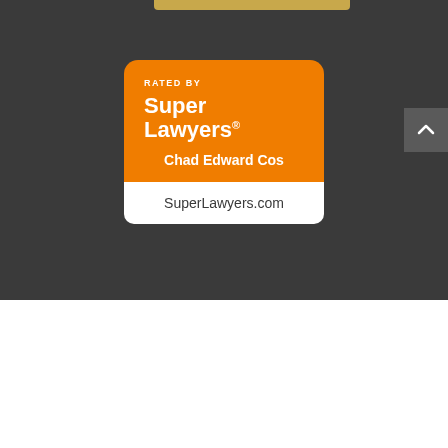[Figure (logo): Super Lawyers badge/logo on dark background. Orange rounded square badge with text 'RATED BY' at top, 'Super Lawyers®' in large bold white text, 'Chad Edward Cos' in bold white text, and 'SuperLawyers.com' in a white bar at the bottom.]